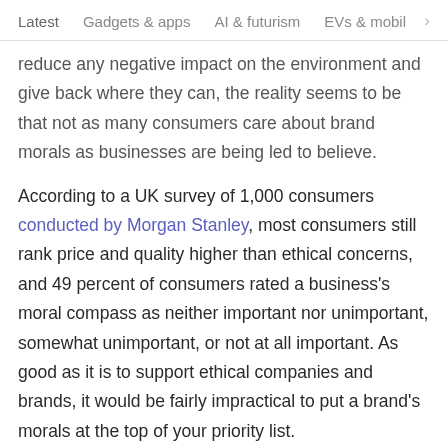Latest   Gadgets & apps   AI & futurism   EVs & mobil  >
reduce any negative impact on the environment and give back where they can, the reality seems to be that not as many consumers care about brand morals as businesses are being led to believe.
According to a UK survey of 1,000 consumers conducted by Morgan Stanley, most consumers still rank price and quality higher than ethical concerns, and 49 percent of consumers rated a business's moral compass as neither important nor unimportant, somewhat unimportant, or not at all important. As good as it is to support ethical companies and brands, it would be fairly impractical to put a brand's morals at the top of your priority list.
Final thoughts